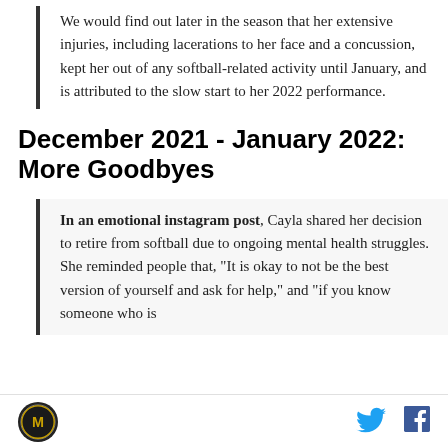We would find out later in the season that her extensive injuries, including lacerations to her face and a concussion, kept her out of any softball-related activity until January, and is attributed to the slow start to her 2022 performance.
December 2021 - January 2022: More Goodbyes
In an emotional instagram post, Cayla shared her decision to retire from softball due to ongoing mental health struggles. She reminded people that, "It is okay to not be the best version of yourself and ask for help," and "if you know someone who is
M [logo] [Twitter icon] [Facebook icon]